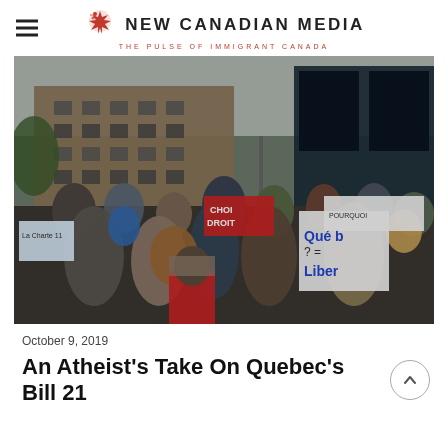NEW CANADIAN MEDIA — THE PULSE OF IMMIGRANT CANADA
[Figure (photo): A large street protest crowd holding signs including 'Québec = Liber...' and 'CHOI DROIT', in front of a brick building with Lancôme advertisements. Many participants wear hijabs.]
October 9, 2019
An Atheist's Take On Quebec's Bill 21